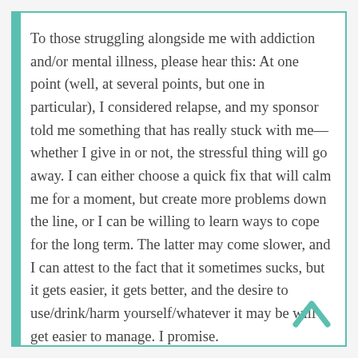To those struggling alongside me with addiction and/or mental illness, please hear this: At one point (well, at several points, but one in particular), I considered relapse, and my sponsor told me something that has really stuck with me—whether I give in or not, the stressful thing will go away. I can either choose a quick fix that will calm me for a moment, but create more problems down the line, or I can be willing to learn ways to cope for the long term. The latter may come slower, and I can attest to the fact that it sometimes sucks, but it gets easier, it gets better, and the desire to use/drink/harm yourself/whatever it may be will get easier to manage. I promise.